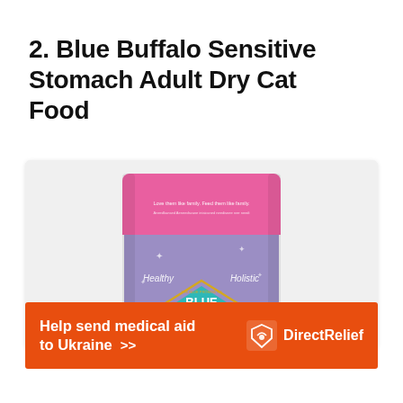2. Blue Buffalo Sensitive Stomach Adult Dry Cat Food
[Figure (photo): Blue Buffalo Sensitive Stomach Adult Dry Cat Food bag — pink top, purple/lavender body with 'Healthy Holistic' text and teal BLUE diamond logo in center]
Help send medical aid to Ukraine >> DirectRelief